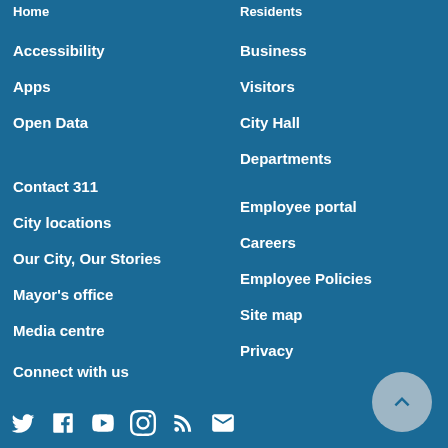Home
Residents
Accessibility
Business
Apps
Visitors
Open Data
City Hall
Departments
Contact 311
Employee portal
City locations
Careers
Our City, Our Stories
Employee Policies
Mayor's office
Site map
Media centre
Privacy
Connect with us
[Figure (other): Social media icons: Twitter, Facebook, YouTube, Instagram, RSS, Email]